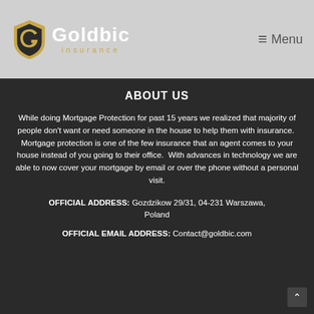Goldbic Insurance | Menu
ABOUT US
While doing Mortgage Protection for past 15 years we realized that majority of people don't want or need someone in the house to help them with insurance.  Mortgage protection is one of the few insurance that an agent comes to your house instead of you going to their office.  With advances in technology we are able to now cover your mortgage by email or over the phone without a personal visit.
OFFICIAL ADDRESS: Gozdzikow 29/31, 04-231 Warszawa, Poland
OFFICIAL EMAIL ADDRESS: Contact@goldbic.com